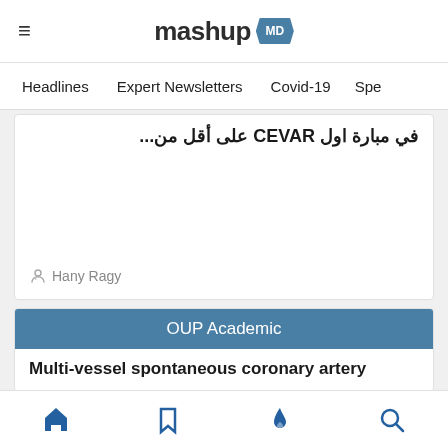mashup MD
Headlines   Expert Newsletters   Covid-19   Spe...
في مبارة اول CEVAR على أقل من...
Hany Ragy
OUP Academic
Multi-vessel spontaneous coronary artery